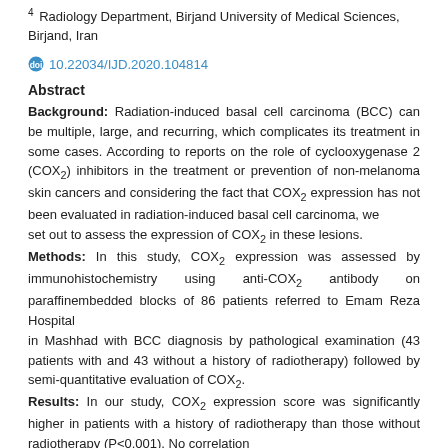4 Radiology Department, Birjand University of Medical Sciences, Birjand, Iran
doi 10.22034/IJD.2020.104814
Abstract
Background: Radiation-induced basal cell carcinoma (BCC) can be multiple, large, and recurring, which complicates its treatment in some cases. According to reports on the role of cyclooxygenase 2 (COX2) inhibitors in the treatment or prevention of non-melanoma skin cancers and considering the fact that COX2 expression has not been evaluated in radiation-induced basal cell carcinoma, we set out to assess the expression of COX2 in these lesions. Methods: In this study, COX2 expression was assessed by immunohistochemistry using anti-COX2 antibody on paraffinembedded blocks of 86 patients referred to Emam Reza Hospital in Mashhad with BCC diagnosis by pathological examination (43 patients with and 43 without a history of radiotherapy) followed by semi-quantitative evaluation of COX2. Results: In our study, COX2 expression score was significantly higher in patients with a history of radiotherapy than those without radiotherapy (P<0.001). No correlation